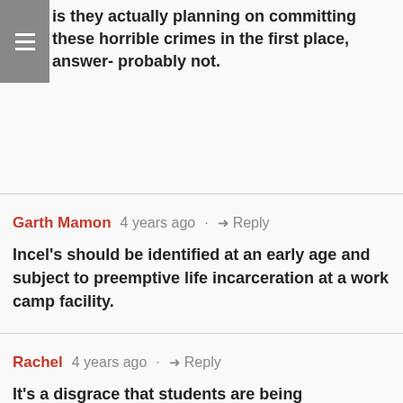is they actually planning on committing these horrible crimes in the first place, answer- probably not.
Garth Mamon  4 years ago  ·  Reply
Incel's should be identified at an early age and subject to preemptive life incarceration at a work camp facility.
Rachel  4 years ago  ·  Reply
It's a disgrace that students are being suspended for this sort of thing. It's not a crime to be offensive. Especially not in a private chat with your friends. It's not a crime to hold horrible views. It's not a crime to be an